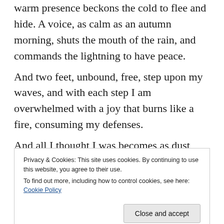warm presence beckons the cold to flee and hide. A voice, as calm as an autumn morning, shuts the mouth of the rain, and commands the lightning to have peace.
And two feet, unbound, free, step upon my waves, and with each step I am overwhelmed with a joy that burns like a fire, consuming my defenses.
And all I thought I was becomes as dust beneath the weight of a glory I have never before known.
Who is this that chained my winds?
Privacy & Cookies: This site uses cookies. By continuing to use this website, you agree to their use.
To find out more, including how to control cookies, see here: Cookie Policy
Close and accept
the air with a whisper, strong.